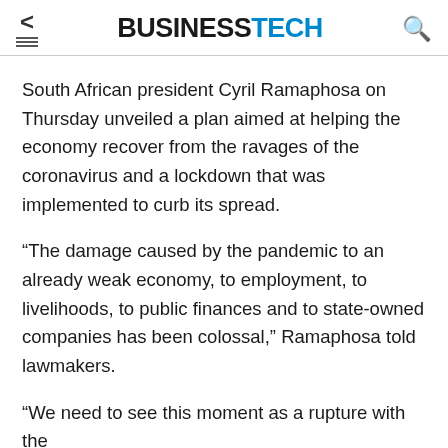BUSINESSTECH
South African president Cyril Ramaphosa on Thursday unveiled a plan aimed at helping the economy recover from the ravages of the coronavirus and a lockdown that was implemented to curb its spread.
“The damage caused by the pandemic to an already weak economy, to employment, to livelihoods, to public finances and to state-owned companies has been colossal,” Ramaphosa told lawmakers.
“We need to see this moment as a rupture with the